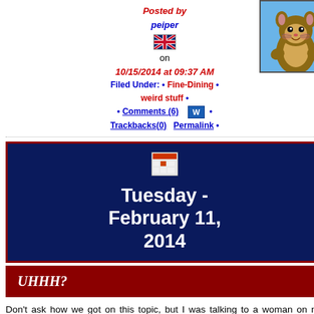Posted by peiper
on 10/15/2014 at 09:37 AM
Filed Under: • Fine-Dining • weird stuff •
• Comments (6) • Trackbacks(0) Permalink •
[Figure (illustration): Cartoon chipmunk or squirrel character on blue background]
[Figure (illustration): Calendar widget showing Tuesday - February 11, 2014 on dark navy background with dark red border]
UHHH?
Don't ask how we got on this topic, but I was talking to a woman on my Facebook page and the subject of the nutritional content of semen came up. Damn me if somebody hasn't done